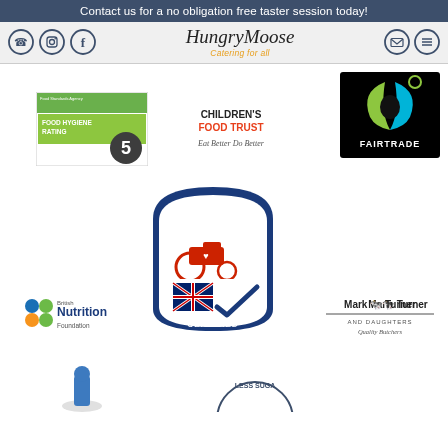Contact us for a no obligation free taster session today!
[Figure (logo): Hungry Moose Catering for all logo with social media icons and navigation icons]
[Figure (logo): Food Hygiene Rating 5 star certificate logo]
[Figure (logo): Children's Food Trust - Eat Better Do Better logo]
[Figure (logo): Fairtrade logo with black background and cyan/green swirl]
[Figure (logo): Red Tractor Certified Standards logo with Union Jack and red tractor]
[Figure (logo): British Nutrition Foundation logo]
[Figure (logo): Mark Turner and Daughters Quality Butchers logo]
[Figure (logo): Partial logos at bottom of page]